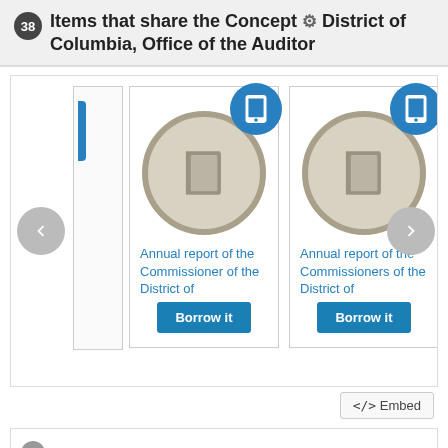38 Items that share the Concept ⚙ District of Columbia, Office of the Auditor
[Figure (screenshot): A library catalog carousel showing two book items: 'Annual report of the Commissioner of the District of' and 'Annual report of the Commissioners of the District of', each with a Borrow it button. Navigation arrows on left and right, tablet/e-book badges on top right of each card.]
Annual report of the Commissioner of the District of
Annual report of the Commissioners of the District of
<> Embed